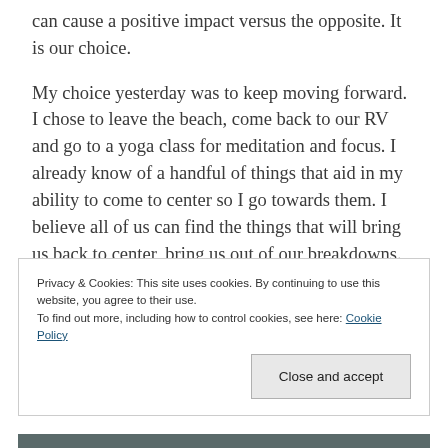can cause a positive impact versus the opposite. It is our choice.
My choice yesterday was to keep moving forward. I chose to leave the beach, come back to our RV and go to a yoga class for meditation and focus. I already know of a handful of things that aid in my ability to come to center so I go towards them. I believe all of us can find the things that will bring us back to center, bring us out of our breakdowns.
Privacy & Cookies: This site uses cookies. By continuing to use this website, you agree to their use.
To find out more, including how to control cookies, see here: Cookie Policy